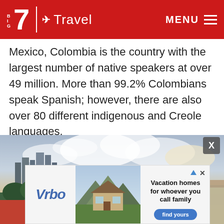Big 7 Travel — MENU
Mexico, Colombia is the country with the largest number of native speakers at over 49 million. More than 99.2% Colombians speak Spanish; however, there are also over 80 different indigenous and Creole languages.
[Figure (photo): Panoramic cityscape of Cartagena, Colombia, with colonial church domes in the foreground, modern skyscrapers to the left, and the sea and dramatic cloudy sky in the background.]
[Figure (infographic): Vrbo advertisement overlay showing a mountain cabin photo, Vrbo logo in italic blue, headline 'Vacation homes for whoever you call family', and a blue 'find yours' button.]